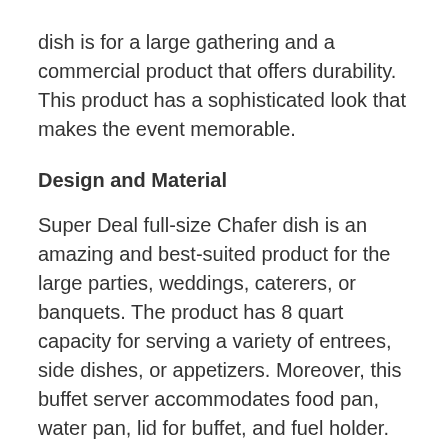dish is for a large gathering and a commercial product that offers durability. This product has a sophisticated look that makes the event memorable.
Design and Material
Super Deal full-size Chafer dish is an amazing and best-suited product for the large parties, weddings, caterers, or banquets. The product has 8 quart capacity for serving a variety of entrees, side dishes, or appetizers. Moreover, this buffet server accommodates food pan, water pan, lid for buffet, and fuel holder. This chafer is constructed with durable...